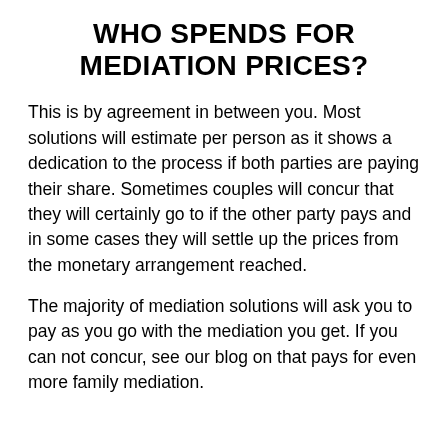WHO SPENDS FOR MEDIATION PRICES?
This is by agreement in between you. Most solutions will estimate per person as it shows a dedication to the process if both parties are paying their share. Sometimes couples will concur that they will certainly go to if the other party pays and in some cases they will settle up the prices from the monetary arrangement reached.
The majority of mediation solutions will ask you to pay as you go with the mediation you get. If you can not concur, see our blog on that pays for even more family mediation.